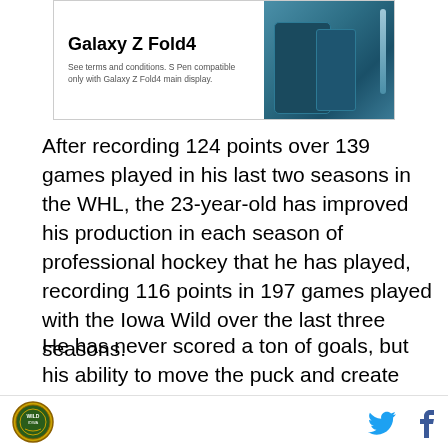[Figure (advertisement): Samsung Galaxy Z Fold4 advertisement with teal/dark teal phone image and S Pen. Text reads 'Galaxy Z Fold4' in bold, with fine print 'See terms and conditions. S Pen compatible only with Galaxy Z Fold4 main display.']
After recording 124 points over 139 games played in his last two seasons in the WHL, the 23-year-old has improved his production in each season of professional hockey that he has played, recording 116 points in 197 games played with the Iowa Wild over the last three seasons.
He has never scored a ton of goals, but his ability to move the puck and create offense as a defenseman are top notch, and it has led to a great start to his
Logo | Twitter | Facebook